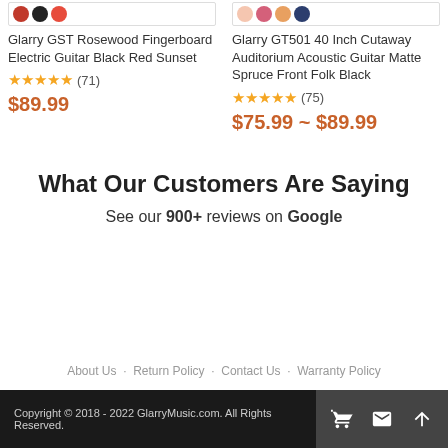Glarry GST Rosewood Fingerboard Electric Guitar Black Red Sunset
★★★★★ (71)
$89.99
Glarry GT501 40 Inch Cutaway Auditorium Acoustic Guitar Matte Spruce Front Folk Black
★★★★★ (75)
$75.99 ~ $89.99
What Our Customers Are Saying
See our 900+ reviews on Google
About Us · Return Policy · Contact Us · Warranty Policy
Copyright © 2018 - 2022 GlarryMusic.com. All Rights Reserved.